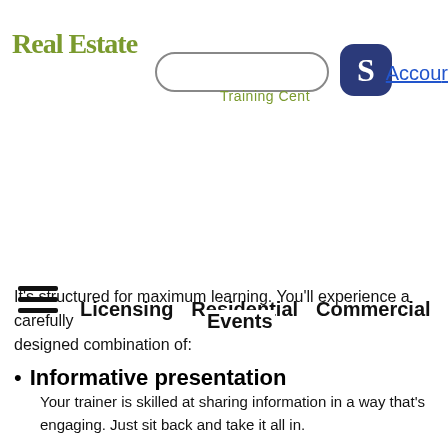Real Estate Training Center | Licensing  Residential  Commercial  Events  Account
It's structured for maximum learning. You'll experience a carefully designed combination of:
Informative presentation
Your trainer is skilled at sharing information in a way that's engaging. Just sit back and take it all in.
Practice Exercises
You'll do some of these alone, and others with a partner. Don't worry - no one will be singled out.
Group Discussion
Get your questions answered. Share your points of view. These are some of the most stimulating segments of
Partial Agenda